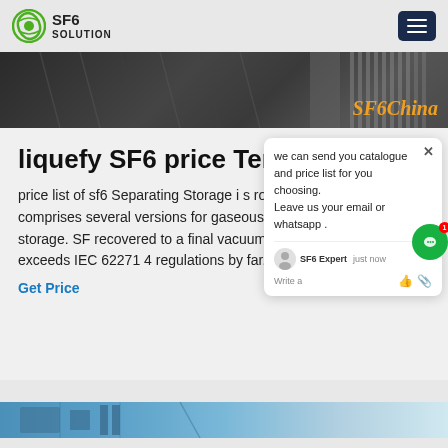[Figure (logo): SF6 Solution company logo with green circular icon and text SF6 SOLUTION]
[Figure (screenshot): Website screenshot showing SF6China banner image with dark industrial background]
liquefy SF6 price Ten
price list of sf6 Separating Storage is robust series comprises several versions for gaseous and liquid SF6 storage. SF recovered to a final vacuum of 0.5 mbar and exceeds IEC 62271 4 regulations by far.
Get Price
[Figure (screenshot): Chat popup widget showing: 'we can send you catalogue and price list for you choosing. Leave us your email or whatsapp.' with SF6 Expert agent, just now timestamp, Write a message input with like and attachment icons]
[Figure (screenshot): Bottom blue image strip showing industrial equipment]